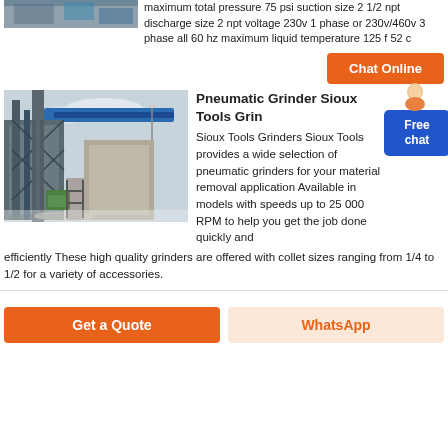[Figure (photo): Industrial/engineering equipment photo at top of page]
maximum total pressure 75 psi suction size 2 1/2 npt discharge size 2 npt voltage 230v 1 phase or 230v/460v 3 phase all 60 hz maximum liquid temperature 125 f 52 c
[Figure (other): Orange Chat Online button]
[Figure (photo): Industrial facility with conveyor belt and machinery]
Pneumatic Grinder Sioux Tools Grinder
Sioux Tools Grinders Sioux Tools provides a wide selection of pneumatic grinders for your material removal application Available in models with speeds up to 25 000 RPM to help you get the job done quickly and efficiently These high quality grinders are offered with collet sizes ranging from 1/4 to 1/2 for a variety of accessories.
[Figure (other): Free chat button with avatar]
[Figure (other): Get a Quote button]
[Figure (other): WhatsApp button]